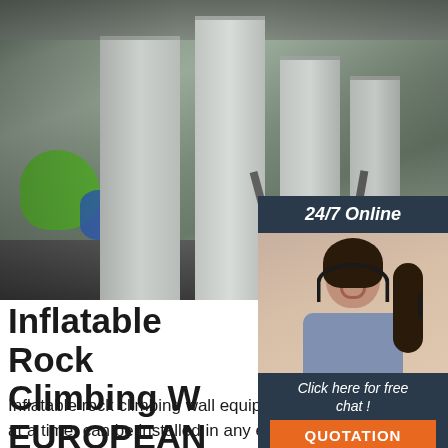[Figure (photo): Large inflatable rock climbing wall structures inside a warehouse, with a yellow blower/fan at the base, green and blue inflatables visible on the left]
[Figure (infographic): 24/7 Online chat box with photo of woman wearing headset and a QUOTATION button]
Inflatable Rock Climbing W... EUROPEAN AIRFULL
Inflatable rock climbing wall equipped for up to 4 climbers at a time, can be installed in any environment with maximum safety. Estimated delivery time: 90 days. Check other models in stock and/or our complimentary inflatable service.
[Figure (logo): TOP badge/sticker in orange with dotted border]